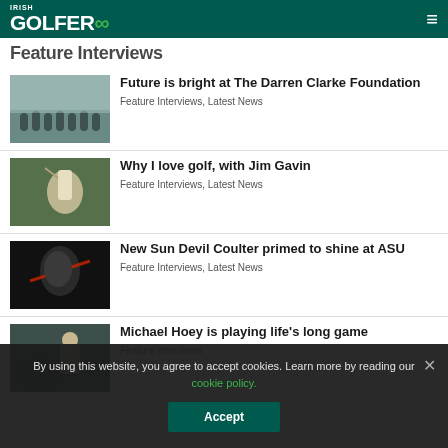IRISH GOLFER ∞
Feature Interviews
Future is bright at The Darren Clarke Foundation — Feature Interviews, Latest News
Why I love golf, with Jim Gavin — Feature Interviews, Latest News
New Sun Devil Coulter primed to shine at ASU — Feature Interviews, Latest News
Michael Hoey is playing life's long game — Feature Interviews
By using this website, you agree to accept cookies. Learn more by reading our cookie policy.